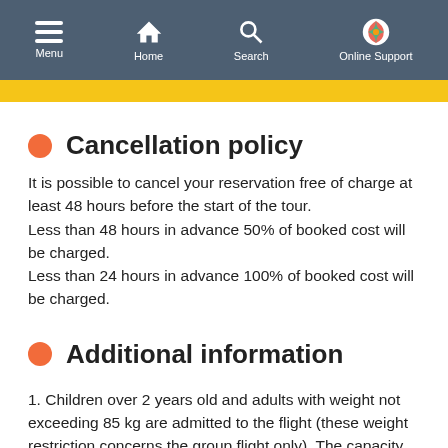Menu | Home | Search | Online Support
Cancellation policy
It is possible to cancel your reservation free of charge at least 48 hours before the start of the tour.
Less than 48 hours in advance 50% of booked cost will be charged.
Less than 24 hours in advance 100% of booked cost will be charged.
Additional information
1. Children over 2 years old and adults with weight not exceeding 85 kg are admitted to the flight (these weight restriction concerns the group flight only). The capacity of the